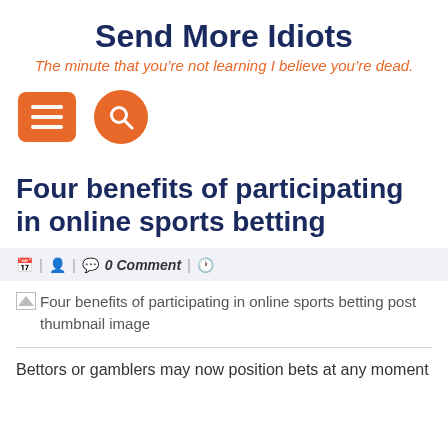Send More Idiots
The minute that you're not learning I believe you're dead.
[Figure (infographic): Orange square menu/hamburger button icon and orange circle search button icon]
Four benefits of participating in online sports betting
| | 0 Comment |
[Figure (photo): Broken image placeholder: Four benefits of participating in online sports betting post thumbnail image]
Bettors or gamblers may now position bets at any moment